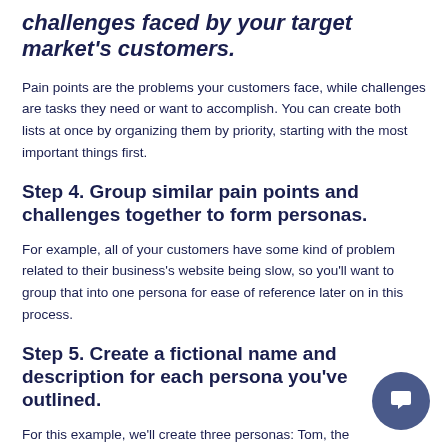challenges faced by your target market's customers.
Pain points are the problems your customers face, while challenges are tasks they need or want to accomplish. You can create both lists at once by organizing them by priority, starting with the most important things first.
Step 4. Group similar pain points and challenges together to form personas.
For example, all of your customers have some kind of problem related to their business's website being slow, so you'll want to group that into one persona for ease of reference later on in this process.
Step 5. Create a fictional name and description for each persona you've outlined.
For this example, we'll create three personas: Tom, the